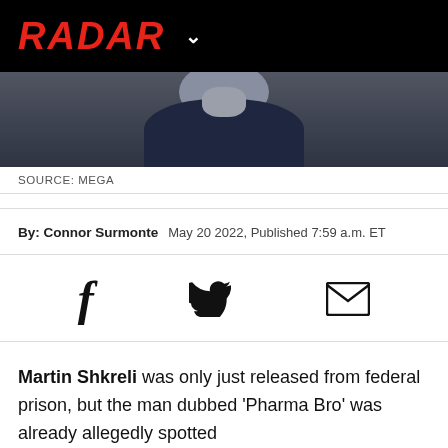RADAR
[Figure (photo): Person wearing a dark navy shirt, photo cropped at neck/collar area, dark blurred background]
SOURCE: MEGA
By: Connor Surmonte  May 20 2022, Published 7:59 a.m. ET
[Figure (infographic): Social share icons: Facebook (f), Twitter (bird), Email (envelope)]
Martin Shkreli was only just released from federal prison, but the man dubbed 'Pharma Bro' was already allegedly spotted